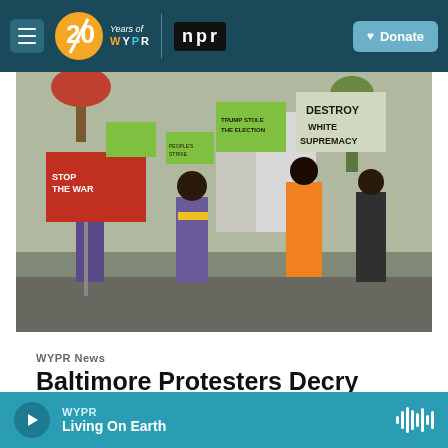WYPR 20 Years of WYPR | npr | Donate
[Figure (photo): Protesters marching outdoors in fall, holding signs including 'Destroy White Supremacy' and other protest signs, wearing masks]
WYPR News
Baltimore Protesters Decry Trump's False 'Stolen Election' Claims
WYPR Living On Earth